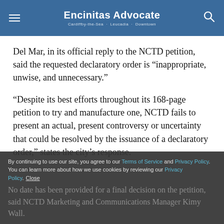Encinitas Advocate — Cardiffby-the-Sea · Leucadia · Downtown
Del Mar, in its official reply to the NCTD petition, said the requested declaratory order is “inappropriate, unwise, and unnecessary.”
“Despite its best efforts throughout its 168-page petition to try and manufacture one, NCTD fails to present an actual, present controversy or uncertainty that could be resolved by the issuance of a declaratory order,” states the city’s response.
By continuing to use our site, you agree to our Terms of Service and Privacy Policy. You can learn more about how we use cookies by reviewing our Privacy Policy. Close | No date has been provided for a final decision on the petition, said NCTD Marketing and Communications Manager Kimy Wall.